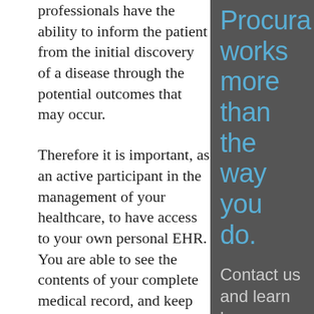professionals have the ability to inform the patient from the initial discovery of a disease through the potential outcomes that may occur.
Therefore it is important, as an active participant in the management of your healthcare, to have access to your own personal EHR. You are able to see the contents of your complete medical record, and keep track of your records and treatments. As the patient, you can provide key data points about your health.
Managing your healthcare is not only important when you are
Procura works more than the way you do.
Contact us and learn how we can help